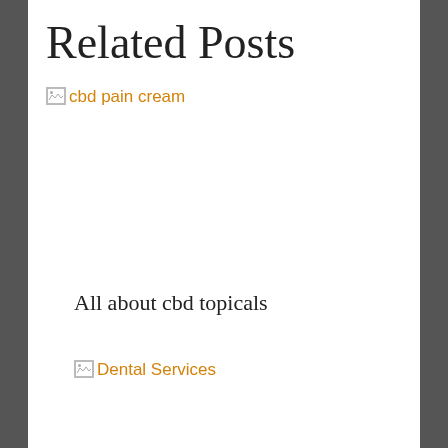Related Posts
[Figure (other): Broken image thumbnail with alt text 'cbd pain cream' shown as orange link text]
All about cbd topicals
[Figure (other): Broken image thumbnail with alt text 'Dental Services' shown as orange link text]